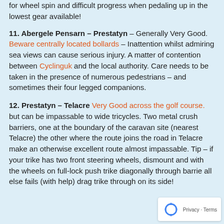for wheel spin and difficult progress when pedaling up in the lowest gear available!
11. Abergele Pensarn – Prestatyn – Generally Very Good. Beware centrally located bollards – Inattention whilst admiring sea views can cause serious injury. A matter of contention between Cyclinguk and the local authority. Care needs to be taken in the presence of numerous pedestrians – and sometimes their four legged companions.
12. Prestatyn – Telacre Very Good across the golf course. but can be impassable to wide tricycles. Two metal crush barriers, one at the boundary of the caravan site (nearest Telacre) the other where the route joins the road in Telacre make an otherwise excellent route almost impassable. Tip – if your trike has two front steering wheels, dismount and with the wheels on full-lock push trike diagonally through barrier all else fails (with help) drag trike through on its side!